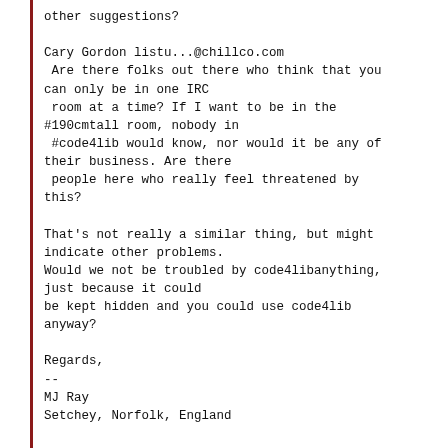other suggestions?

Cary Gordon listu...@chillco.com
 Are there folks out there who think that you can only be in one IRC
 room at a time? If I want to be in the #190cmtall room, nobody in
 #code4lib would know, nor would it be any of their business. Are there
 people here who really feel threatened by this?

That's not really a similar thing, but might indicate other problems.
Would we not be troubled by code4libanything, just because it could
be kept hidden and you could use code4lib anyway?

Regards,
--
MJ Ray
Setchey, Norfolk, England